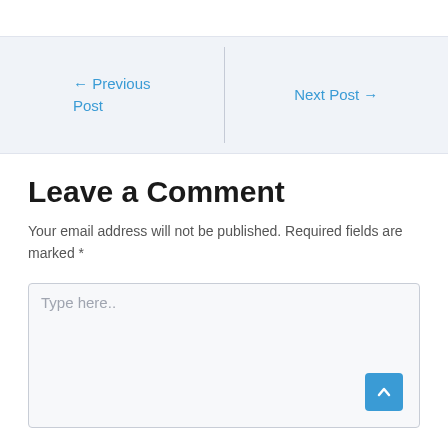← Previous Post
Next Post →
Leave a Comment
Your email address will not be published. Required fields are marked *
Type here..